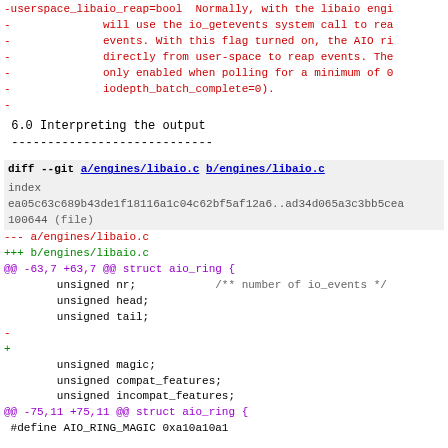-userspace_libaio_reap=bool  Normally, with the libaio engi
-              will use the io_getevents system call to rea
-              events. With this flag turned on, the AIO ri
-              directly from user-space to reap events. The
-              only enabled when polling for a minimum of 0
-              iodepth_batch_complete=0).
-
6.0 Interpreting the output
----------------------------
diff --git a/engines/libaio.c b/engines/libaio.c
index
ea05c63c689b43de1f18116a1c04c62bf5af12a6..ad34d065a3c3bb5cea
100644 (file)
--- a/engines/libaio.c
+++ b/engines/libaio.c
@@ -63,7 +63,7 @@ struct aio_ring {
        unsigned nr;            /** number of io_events */
        unsigned head;
        unsigned tail;
-
+
        unsigned magic;
        unsigned compat_features;
        unsigned incompat_features;
@@ -75,11 +75,11 @@ struct aio_ring {
 #define AIO_RING_MAGIC 0xa10a10a1

 static int user_io_getevents(io_context_t aio_ctx, unsigned
-              struct io_event *events)